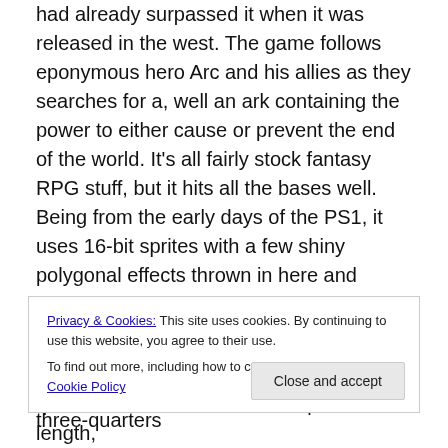had already surpassed it when it was released in the west. The game follows eponymous hero Arc and his allies as they searches for a, well an ark containing the power to either cause or prevent the end of the world. It's all fairly stock fantasy RPG stuff, but it hits all the bases well. Being from the early days of the PS1, it uses 16-bit sprites with a few shiny polygonal effects thrown in here and there. Aside from a few short FMV transitions, Arc The Lad feels like it could have been a Super Nintendo release. The combat is all turn-based strategy with a three-quarters
Privacy & Cookies: This site uses cookies. By continuing to use this website, you agree to their use.
To find out more, including how to control cookies, see here: Cookie Policy
Close and accept
quests to do in each town that pad out the length,